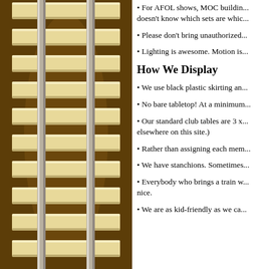[Figure (illustration): Illustration of LEGO train tracks with wooden ties/sleepers on a dark brown background, viewed straight-on. Two parallel silver rails run vertically with evenly spaced tan/beige rectangular wooden crossties.]
For AFOL shows, MOC buildin... doesn't know which sets are whic...
Please don't bring unauthorized...
Lighting is awesome. Motion is...
How We Display
We use black plastic skirting an...
No bare tabletop! At a minimum...
Our standard club tables are 3 x... elsewhere on this site.)
Rather than assigning each mem...
We have stanchions. Sometimes...
Everybody who brings a train w... nice.
We are as kid-friendly as we ca...